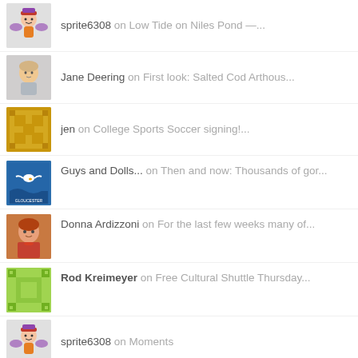sprite6308 on Low Tide on Niles Pond —...
Jane Deering on First look: Salted Cod Arthous...
jen on College Sports Soccer signing!...
Guys and Dolls... on Then and now: Thousands of gor...
Donna Ardizzoni on For the last few weeks many of...
Rod Kreimeyer on Free Cultural Shuttle Thursday...
sprite6308 on Moments
wozthewise9007b46320 on Fantastic Roy Orbison Photo Ta...